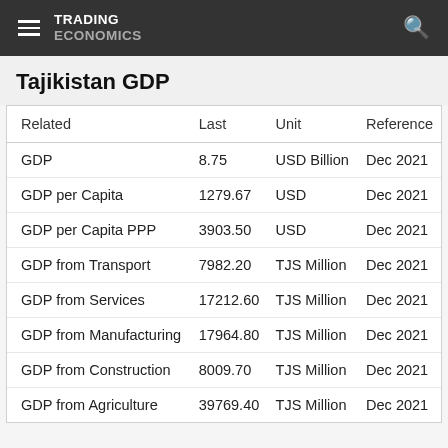TRADING ECONOMICS
Tajikistan GDP
| Related | Last | Unit | Reference |
| --- | --- | --- | --- |
| GDP | 8.75 | USD Billion | Dec 2021 |
| GDP per Capita | 1279.67 | USD | Dec 2021 |
| GDP per Capita PPP | 3903.50 | USD | Dec 2021 |
| GDP from Transport | 7982.20 | TJS Million | Dec 2021 |
| GDP from Services | 17212.60 | TJS Million | Dec 2021 |
| GDP from Manufacturing | 17964.80 | TJS Million | Dec 2021 |
| GDP from Construction | 8009.70 | TJS Million | Dec 2021 |
| GDP from Agriculture | 39769.40 | TJS Million | Dec 2021 |